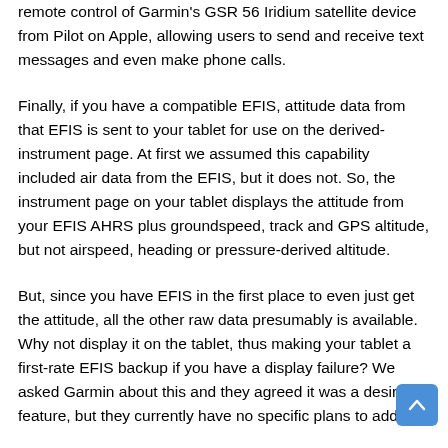remote control of Garmin's GSR 56 Iridium satellite device from Pilot on Apple, allowing users to send and receive text messages and even make phone calls.
Finally, if you have a compatible EFIS, attitude data from that EFIS is sent to your tablet for use on the derived-instrument page. At first we assumed this capability included air data from the EFIS, but it does not. So, the instrument page on your tablet displays the attitude from your EFIS AHRS plus groundspeed, track and GPS altitude, but not airspeed, heading or pressure-derived altitude.
But, since you have EFIS in the first place to even just get the attitude, all the other raw data presumably is available. Why not display it on the tablet, thus making your tablet a first-rate EFIS backup if you have a display failure? We asked Garmin about this and they agreed it was a desirable feature, but they currently have no specific plans to add it.